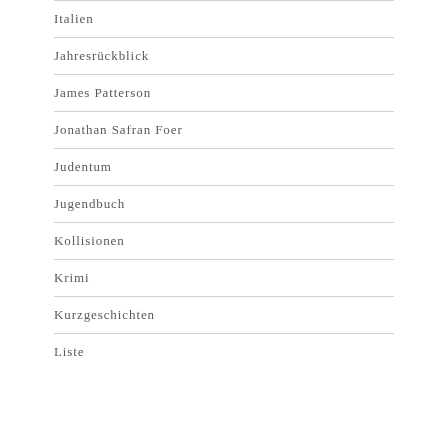Italien
Jahresrückblick
James Patterson
Jonathan Safran Foer
Judentum
Jugendbuch
Kollisionen
Krimi
Kurzgeschichten
Liste